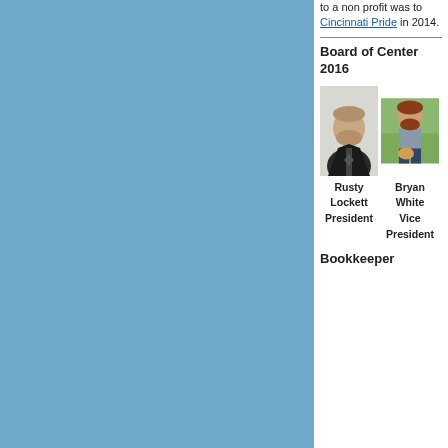[Figure (photo): Left panel with solid blue background]
to a non profit was to Cincinnati Pride in 2014.
Board of Center 2016
[Figure (photo): Photo of Rusty Lockett, President]
[Figure (photo): Photo of Bryan White, Vice President]
Rusty Lockett President
Bryan White Vice President
Bookkeeper